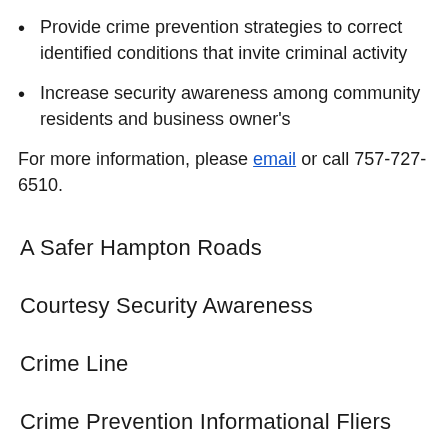Provide crime prevention strategies to correct identified conditions that invite criminal activity
Increase security awareness among community residents and business owner's
For more information, please email or call 757-727-6510.
A Safer Hampton Roads
Courtesy Security Awareness
Crime Line
Crime Prevention Informational Fliers